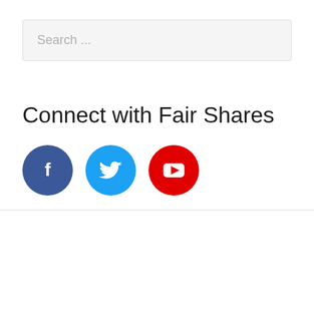Search ...
Connect with Fair Shares
[Figure (infographic): Three social media icon circles: Facebook (dark blue with 'f' logo), Twitter (light blue with bird logo), YouTube (red with play button logo)]